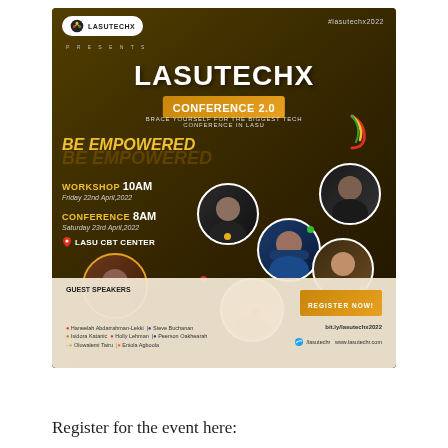[Figure (infographic): LASUTECHX Conference 2.0 promotional poster with dark olive/brown background, conference details, speaker photos, and registration info]
Register for the event here: